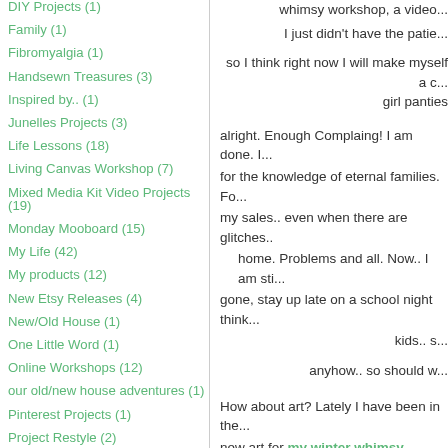DIY Projects (1)
Family (1)
Fibromyalgia (1)
Handsewn Treasures (3)
Inspired by.. (1)
Junelles Projects (3)
Life Lessons (18)
Living Canvas Workshop (7)
Mixed Media Kit Video Projects (19)
Monday Mooboard (15)
My Life (42)
My products (12)
New Etsy Releases (4)
New/Old House (1)
One Little Word (1)
Online Workshops (12)
our old/new house adventures (1)
Pinterest Projects (1)
Project Restyle (2)
whimsy workshop, a video... I just didn't have the patie... so I think right now I will make myself a... girl panties alright. Enough Complaing! I am done. I... for the knowledge of eternal families. Fo... my sales.. even when there are glitches... home. Problems and all. Now.. I am sti... gone, stay up late on a school night think... kids.. s... anyhow.. so should w... How about art? Lately I have been in the... new art for my winter whimsy workshe... is that okay? may... this one is one of my favorite...